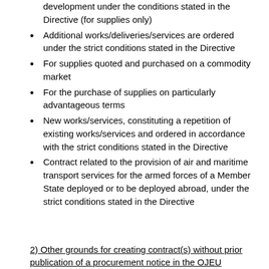development under the conditions stated in the Directive (for supplies only)
Additional works/deliveries/services are ordered under the strict conditions stated in the Directive
For supplies quoted and purchased on a commodity market
For the purchase of supplies on particularly advantageous terms
New works/services, constituting a repetition of existing works/services and ordered in accordance with the strict conditions stated in the Directive
Contract related to the provision of air and maritime transport services for the armed forces of a Member State deployed or to be deployed abroad, under the strict conditions stated in the Directive
2) Other grounds for creating contract(s) without prior publication of a procurement notice in the OJEU